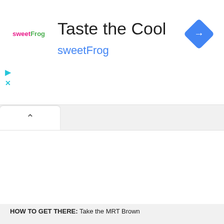[Figure (screenshot): sweetFrog advertisement banner with logo, 'Taste the Cool' headline, 'sweetFrog' subtitle in cyan, blue diamond navigation icon, play and close icons on left side]
Taste the Cool
sweetFrog
[Figure (screenshot): Tab interface with upward chevron on active white tab, grey background area below]
HOW TO GET THERE: Take the MRT Brown